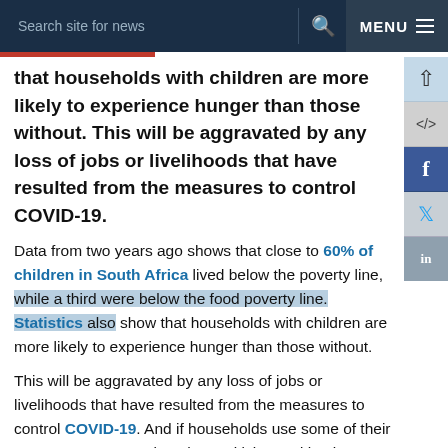Search site for news  MENU
that households with children are more likely to experience hunger than those without. This will be aggravated by any loss of jobs or livelihoods that have resulted from the measures to control COVID-19.
Data from two years ago shows that close to 60% of children in South Africa lived below the poverty line, while a third were below the food poverty line. Statistics also show that households with children are more likely to experience hunger than those without.
This will be aggravated by any loss of jobs or livelihoods that have resulted from the measures to control COVID-19. And if households use some of their scarce resources to buy the sanitising and hygiene products in efforts to to combat COVID-19, this will come at the cost of food and other essentials. Dietary diversity may be reduced, increasing the risk of micro-nutrient